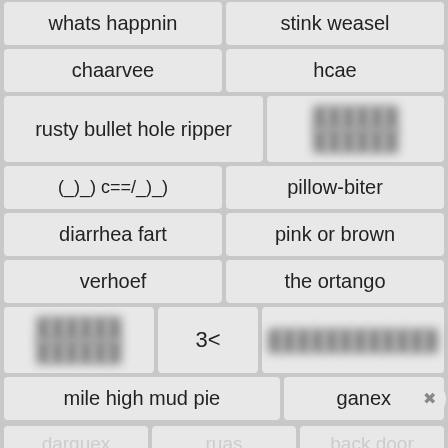whats happnin
stink weasel
chaarvee
hcae
rusty bullet hole ripper
[blurred]
(_)_) c==/­_)_)
pillow-biter
diarrhea fart
pink or brown
verhoef
the ortango
[blurred]
3<
[blurred]
mile high mud pie
ganex
darquex   ruas   back door
[Figure (screenshot): Advertisement banner for Disney Bundle showing Hulu, Disney+, ESPN+ logos and GET THE DISNEY BUNDLE button]
simon groom   lunar landing